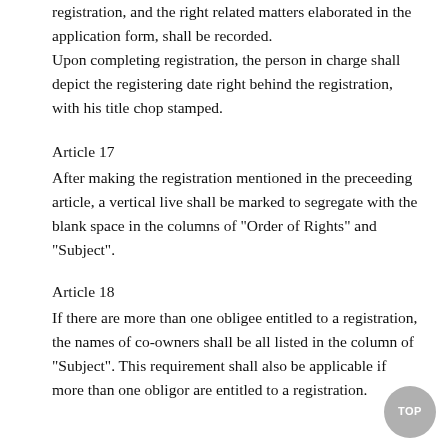registration, and the right related matters elaborated in the application form, shall be recorded. Upon completing registration, the person in charge shall depict the registering date right behind the registration, with his title chop stamped.
Article 17
After making the registration mentioned in the preceeding article, a vertical live shall be marked to segregate with the blank space in the columns of "Order of Rights" and "Subject".
Article 18
If there are more than one obligee entitled to a registration, the names of co-owners shall be all listed in the column of "Subject". This requirement shall also be applicable if more than one obligor are entitled to a registration.